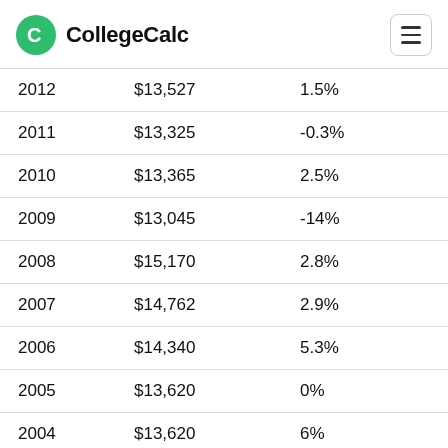CollegeCalc
| 2012 | $13,527 | 1.5% |
| 2011 | $13,325 | -0.3% |
| 2010 | $13,365 | 2.5% |
| 2009 | $13,045 | -14% |
| 2008 | $15,170 | 2.8% |
| 2007 | $14,762 | 2.9% |
| 2006 | $14,340 | 5.3% |
| 2005 | $13,620 | 0% |
| 2004 | $13,620 | 6% |
| 2003 | $12,852 | 8.6% |